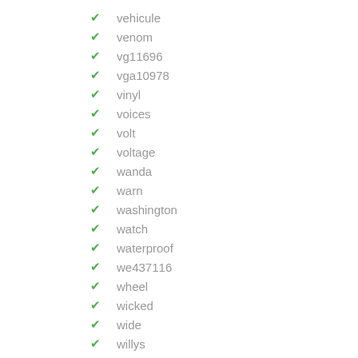vehicule
venom
vg11696
vga10978
vinyl
voices
volt
voltage
wanda
warn
washington
watch
waterproof
we437116
wheel
wicked
wide
willys